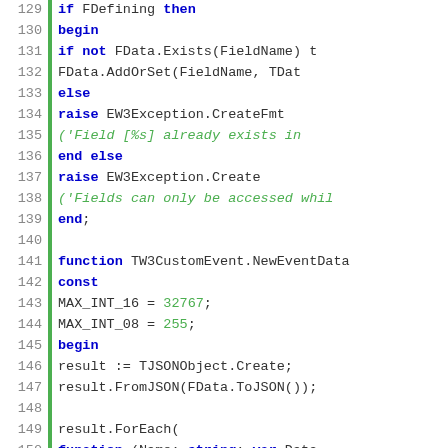[Figure (screenshot): Source code listing in Pascal/Delphi style, lines 129-154, showing code for field access, exception handling, and a function TW3CustomEvent.NewEventData with JSON object manipulation.]